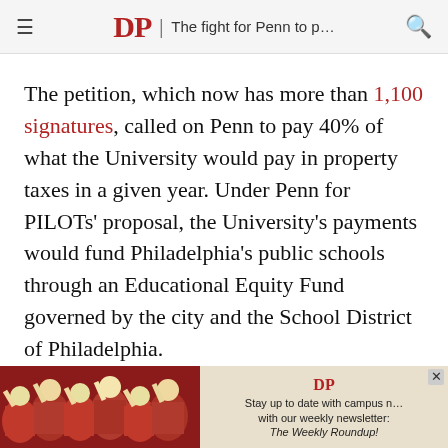DP | The fight for Penn to p…
The petition, which now has more than 1,100 signatures, called on Penn to pay 40% of what the University would pay in property taxes in a given year. Under Penn for PILOTs' proposal, the University's payments would fund Philadelphia's public schools through an Educational Equity Fund governed by the city and the School District of Philadelphia.
After receiving no response from administration,
[Figure (photo): Advertisement banner with photo of crowd in red shirts and text: Stay up to date with campus news with our weekly newsletter: The Weekly Roundup!]